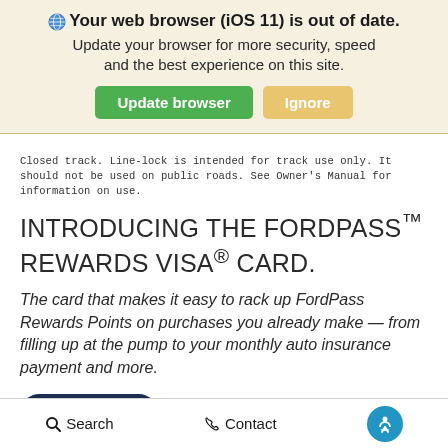[Figure (screenshot): Browser update warning banner with globe icon, title text, and two buttons: Update browser (green) and Ignore (tan/yellow)]
Closed track. Line-lock is intended for track use only. It should not be used on public roads. See Owner’s Manual for information on use.
INTRODUCING THE FORDPASS™ REWARDS VISA® CARD.
The card that makes it easy to rack up FordPass Rewards Points on purchases you already make — from filling up at the pump to your monthly auto insurance payment and more.
Learn More
Search   Contact   (accessibility icon)